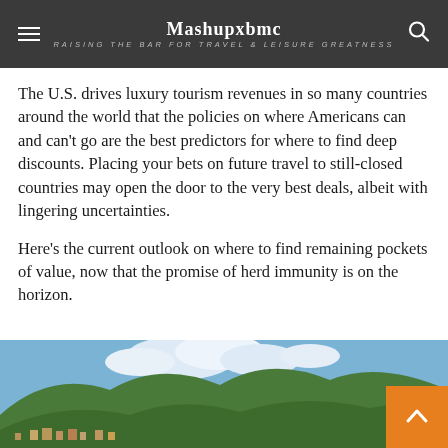Mashupxbmc — RAISING THE BAR FOR TRAVEL & LEISURE GREATNESS
The U.S. drives luxury tourism revenues in so many countries around the world that the policies on where Americans can and can't go are the best predictors for where to find deep discounts. Placing your bets on future travel to still-closed countries may open the door to the very best deals, albeit with lingering uncertainties.
Here's the current outlook on where to find remaining pockets of value, now that the promise of herd immunity is on the horizon.
[Figure (photo): Aerial or elevated view of a green, forested hillside with a village visible at the base and blue sky with clouds above.]